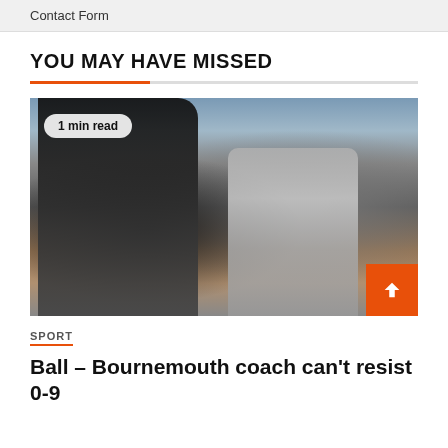Contact Form
YOU MAY HAVE MISSED
[Figure (photo): Two coaches on a football touchline — one in a black hoodie (back to camera) and another in a grey cardigan with arms crossed, looking downward, with a crowded stadium in the background. A '1 min read' badge overlays the top-left of the image. An orange back-to-top arrow button is in the bottom-right corner.]
SPORT
Ball – Bournemouth coach can't resist 0-9